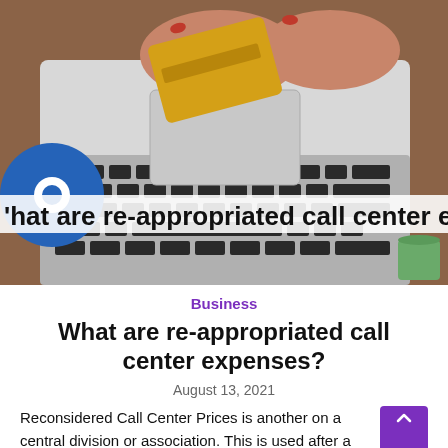[Figure (photo): Overhead view of a person holding a gold credit card over a laptop keyboard with red nails, on a wooden desk. A blue circle icon is visible on the left side. An overlaid text strip reads 'hat are re-appropriated call center expenses']
Business
What are re-appropriated call center expenses?
August 13, 2021
Reconsidered Call Center Prices is another or a central division or association. This is used after a